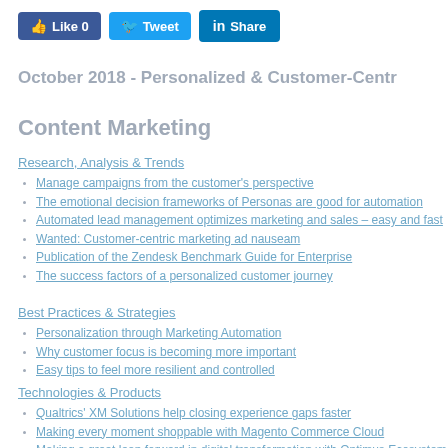[Figure (screenshot): Social sharing buttons: Like 0, Tweet, Share]
October 2018 - Personalized & Customer-Centr
Content Marketing
Research, Analysis & Trends
Manage campaigns from the customer's perspective
The emotional decision frameworks of Personas are good for automation
Automated lead management optimizes marketing and sales – easy and fast
Wanted: Customer-centric marketing ad nauseam
Publication of the Zendesk Benchmark Guide for Enterprise
The success factors of a personalized customer journey
Best Practices & Strategies
Personalization through Marketing Automation
Why customer focus is becoming more important
Easy tips to feel more resilient and controlled
Technologies & Products
Qualtrics' XM Solutions help closing experience gaps faster
Making every moment shoppable with Magento Commerce Cloud
Making a great leap forward in digital transformation with Optimus Ecosystem